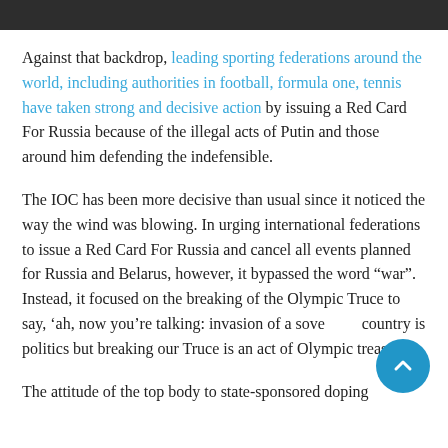Against that backdrop, leading sporting federations around the world, including authorities in football, formula one, tennis have taken strong and decisive action by issuing a Red Card For Russia because of the illegal acts of Putin and those around him defending the indefensible.
The IOC has been more decisive than usual since it noticed the way the wind was blowing. In urging international federations to issue a Red Card For Russia and cancel all events planned for Russia and Belarus, however, it bypassed the word “war”. Instead, it focused on the breaking of the Olympic Truce to say, ‘ah, now you’re talking: invasion of a sovereign country is politics but breaking our Truce is an act of Olympic treason’.
The attitude of the top body to state-sponsored doping